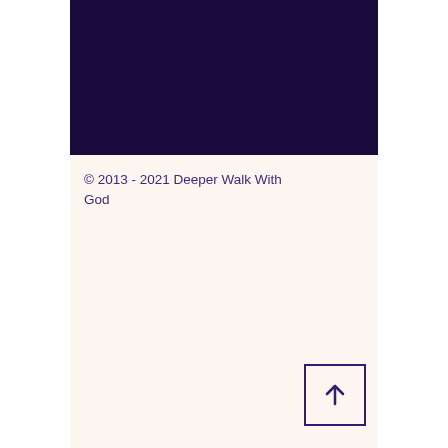[Figure (other): Dark navy/purple rectangular header block]
© 2013 - 2021 Deeper Walk With God
[Figure (other): Square button with upward arrow icon]